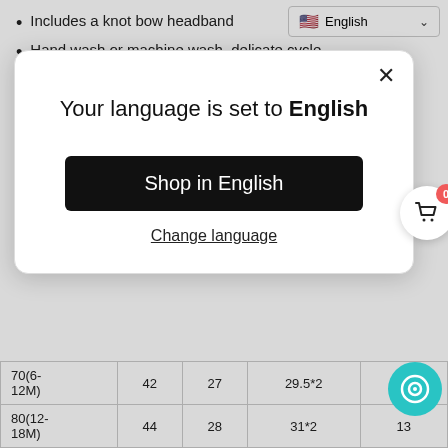Includes a knot bow headband
Hand wash or machine wash, delicate cycle.
Size Information (centimeters)
[Figure (screenshot): Modal dialog: 'Your language is set to English' with 'Shop in English' button and 'Change language' link, plus close X button]
| 70(6-12M) | 42 | 27 | 29.5*2 | 12.5 |
| 80(12-18M) | 44 | 28 | 31*2 | 13 |